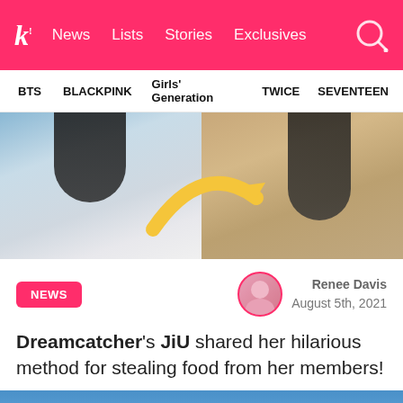k! News Lists Stories Exclusives
BTS BLACKPINK Girls' Generation TWICE SEVENTEEN
[Figure (photo): Side-by-side comparison photos of a K-pop idol with a yellow arrow pointing from left photo to right photo]
NEWS
Renee Davis
August 5th, 2021
Dreamcatcher's JiU shared her hilarious method for stealing food from her members!
[Figure (photo): Blue background photo of a K-pop idol, partially visible at the bottom of the page]